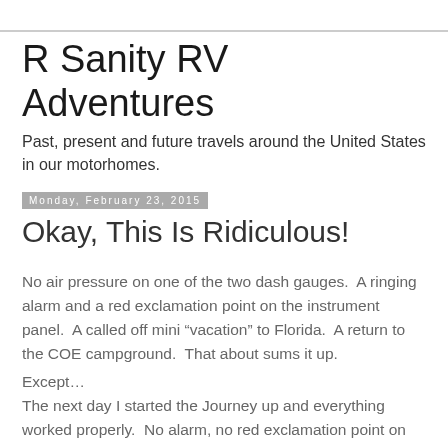R Sanity RV Adventures
Past, present and future travels around the United States in our motorhomes.
Monday, February 23, 2015
Okay, This Is Ridiculous!
No air pressure on one of the two dash gauges.  A ringing alarm and a red exclamation point on the instrument panel.  A called off mini “vacation” to Florida.  A return to the COE campground.  That about sums it up.
Except…
The next day I started the Journey up and everything worked properly.  No alarm, no red exclamation point on the instrument panel. Perfect reading on the gauge showing the correct air pressure.